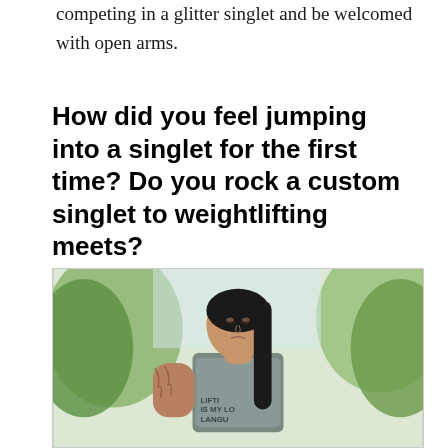competing in a glitter singlet and be welcomed with open arms.
How did you feel jumping into a singlet for the first time? Do you rock a custom singlet to weightlifting meets?
[Figure (photo): A woman with long dark hair wearing a gray t-shirt with text 'LIFTING IS MY LANGUAGE', with a tattoo on her arm, looking upward with trees in the background outdoors.]